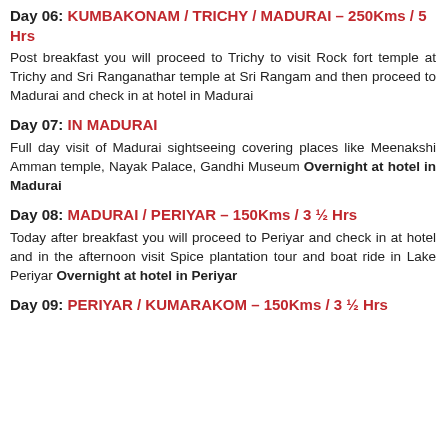Day 06: KUMBAKONAM / TRICHY / MADURAI – 250Kms / 5 Hrs
Post breakfast you will proceed to Trichy to visit Rock fort temple at Trichy and Sri Ranganathar temple at Sri Rangam and then proceed to Madurai and check in at hotel in Madurai
Day 07: IN MADURAI
Full day visit of Madurai sightseeing covering places like Meenakshi Amman temple, Nayak Palace, Gandhi Museum Overnight at hotel in Madurai
Day 08: MADURAI / PERIYAR – 150Kms / 3 ½ Hrs
Today after breakfast you will proceed to Periyar and check in at hotel and in the afternoon visit Spice plantation tour and boat ride in Lake Periyar Overnight at hotel in Periyar
Day 09: PERIYAR / KUMARAKOM – 150Kms / 3 ½ Hrs